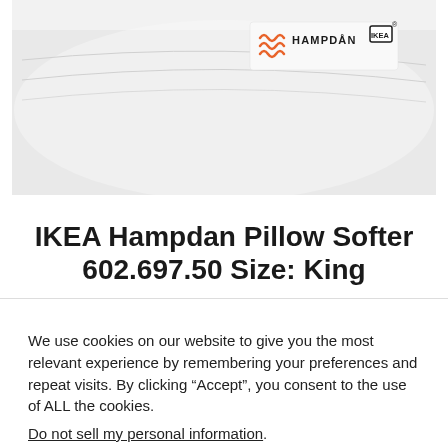[Figure (photo): Close-up photo of a white IKEA HAMPDAN pillow with an orange wavy label and IKEA logo on a white background.]
IKEA Hampdan Pillow Softer 602.697.50 Size: King
We use cookies on our website to give you the most relevant experience by remembering your preferences and repeat visits. By clicking “Accept”, you consent to the use of ALL the cookies.
Do not sell my personal information.